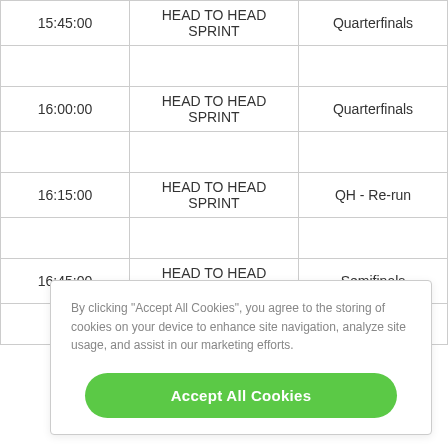| Time | Event | Round |  |
| --- | --- | --- | --- |
| 15:45:00 | HEAD TO HEAD SPRINT | Quarterfinals |  |
| 16:00:00 | HEAD TO HEAD SPRINT | Quarterfinals |  |
| 16:15:00 | HEAD TO HEAD SPRINT | QH - Re-run |  |
| 16:45:00 | HEAD TO HEAD SPRINT | Semifinals |  |
By clicking "Accept All Cookies", you agree to the storing of cookies on your device to enhance site navigation, analyze site usage, and assist in our marketing efforts.
Accept All Cookies